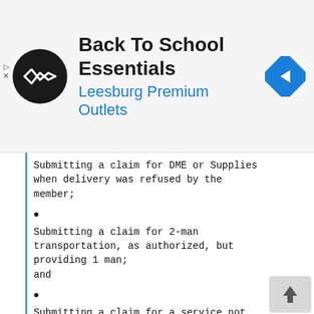[Figure (advertisement): Ad banner for 'Back To School Essentials' at Leesburg Premium Outlets with a circular logo and navigation icon]
Submitting a claim for DME or Supplies when delivery was refused by the member;
Submitting a claim for 2-man transportation, as authorized, but providing 1 man; and
Submitting a claim for a service not provided.
The FCA's Qui Tam Provisions